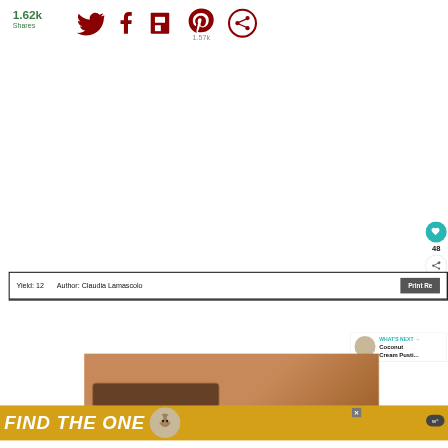1.62k Shares
[Figure (screenshot): Social share bar with Twitter, Facebook, Flipboard, Pinterest (1.57k), and circle share icons in dark red]
[Figure (screenshot): Floating like button (teal circle with heart, count 48) and share button on right side]
Yield: 12    Author: Claudia Lamascolo    Print Re...
[Figure (screenshot): What's Next panel with thumbnail and text: Coconut Cream Pusti...]
[Figure (photo): Food photo on wooden cutting board]
[Figure (screenshot): Advertisement banner: FIND THE ONE with dog photo and close button, weather widget showing degrees]